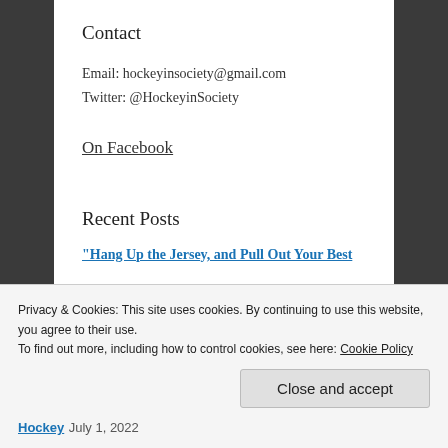Contact
Email: hockeyinsociety@gmail.com
Twitter: @HockeyinSociety
On Facebook
Recent Posts
“Hang Up the Jersey, and Pull Out Your Best
Privacy & Cookies: This site uses cookies. By continuing to use this website, you agree to their use.
To find out more, including how to control cookies, see here: Cookie Policy
Close and accept
Hockey July 1, 2022